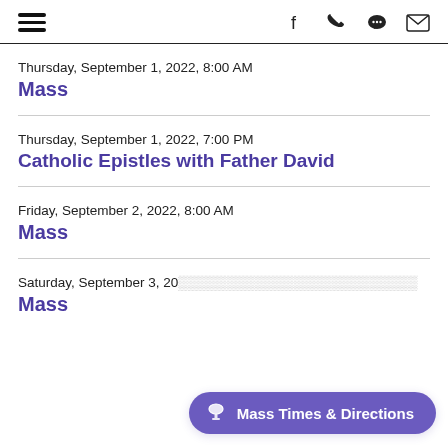[hamburger menu, facebook, phone, chat, email icons]
Thursday, September 1, 2022, 8:00 AM
Mass
Thursday, September 1, 2022, 7:00 PM
Catholic Epistles with Father David
Friday, September 2, 2022, 8:00 AM
Mass
Saturday, September 3, 20...
Mass
Mass Times & Directions